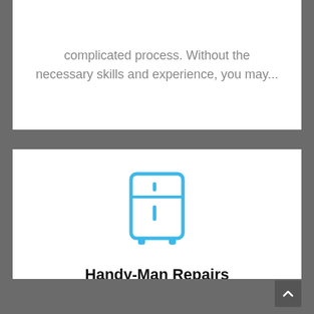complicated process. Without the necessary skills and experience, you may...
[Figure (illustration): Blue outline icon of a refrigerator with two compartments and feet]
Handy-Man Repairs
Do you need handy-man type repairs? Then get in touch with us. We have highly skilled and experienced professionals that...